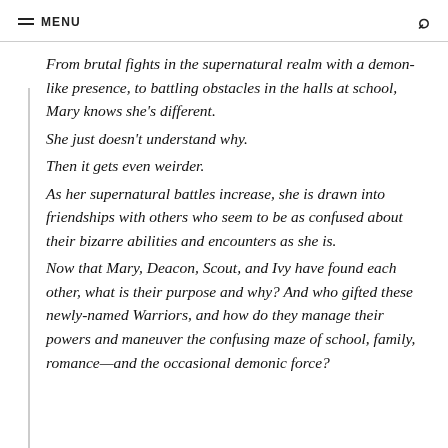≡ MENU  🔍
From brutal fights in the supernatural realm with a demon-like presence, to battling obstacles in the halls at school, Mary knows she's different.
She just doesn't understand why.
Then it gets even weirder.
As her supernatural battles increase, she is drawn into friendships with others who seem to be as confused about their bizarre abilities and encounters as she is.
Now that Mary, Deacon, Scout, and Ivy have found each other, what is their purpose and why? And who gifted these newly-named Warriors, and how do they manage their powers and maneuver the confusing maze of school, family, romance—and the occasional demonic force?